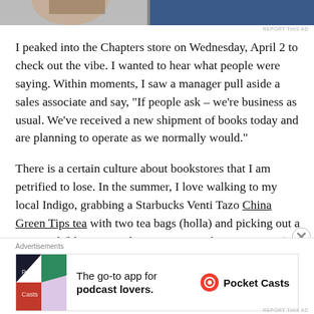[Figure (photo): Partial photo at top of page showing a person in suit]
I peaked into the Chapters store on Wednesday, April 2 to check out the vibe. I wanted to hear what people were saying. Within moments, I saw a manager pull aside a sales associate and say, "If people ask – we're business as usual. We've received a new shipment of books today and are planning to operate as we normally would."
There is a certain culture about bookstores that I am petrified to lose. In the summer, I love walking to my local Indigo, grabbing a Starbucks Venti Tazo China Green Tips tea with two tea bags (holla) and picking out a new read (like an actual paper copy, with pages to turn). To boot, I even pay for this new read. I love the smell of bookstores. I love the way all
Advertisements
[Figure (screenshot): Pocket Casts advertisement: The go-to app for podcast lovers.]